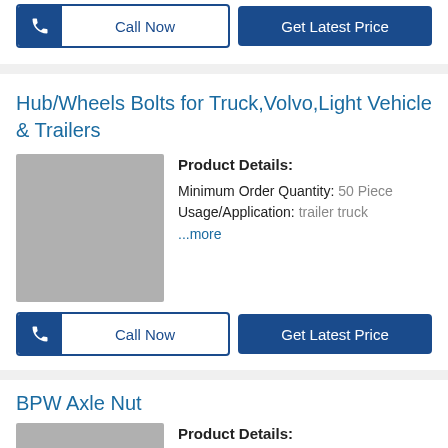[Figure (other): Call Now and Get Latest Price buttons at the top of the page]
Hub/Wheels Bolts for Truck,Volvo,Light Vehicle & Trailers
[Figure (photo): Product image placeholder (grey box) for Hub/Wheels Bolts]
Product Details: Minimum Order Quantity: 50 Piece Usage/Application: trailer truck ...more
[Figure (other): Call Now and Get Latest Price buttons below product]
BPW Axle Nut
[Figure (photo): Product image placeholder (grey box) for BPW Axle Nut]
Product Details: